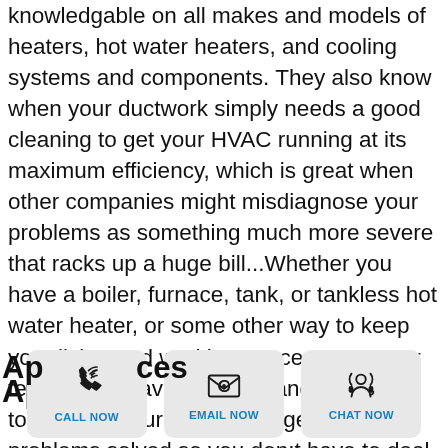knowledgable on all makes and models of heaters, hot water heaters, and cooling systems and components. They also know when your ductwork simply needs a good cleaning to get your HVAC running at its maximum efficiency, which is great when other companies might misdiagnose your problems as something much more severe that racks up a huge bill...Whether you have a boiler, furnace, tank, or tankless hot water heater, or some other way to keep your living and working spaces warm, our technicians have the skills and dedication to address your issues and get the problems solved so you don;t have to deal with the problems for even another day. Call us to inquire about your heating, ventilation, or cooling problem, and we'll have some answers and be happy to help our neighbors!
[Figure (other): Bottom action bar with three buttons: CALL NOW (phone icon), EMAIL NOW (envelope icon), CHAT NOW (headset icon). Partial text 'Ap___ces' visible behind the bar.]